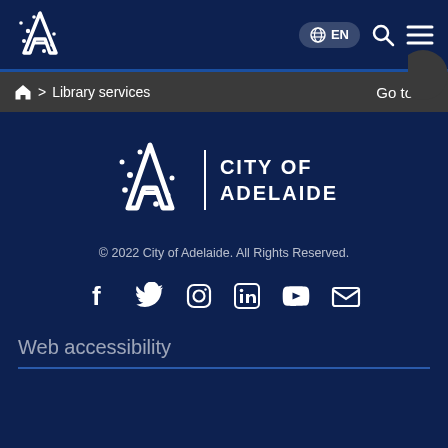City of Adelaide - EN language selector, search, menu
Home > Library services  Go to
[Figure (logo): City of Adelaide logo - stylized A with dots and text CITY OF ADELAIDE]
© 2022 City of Adelaide. All Rights Reserved.
[Figure (infographic): Social media icons: Facebook, Twitter, Instagram, LinkedIn, YouTube, Email]
Web accessibility